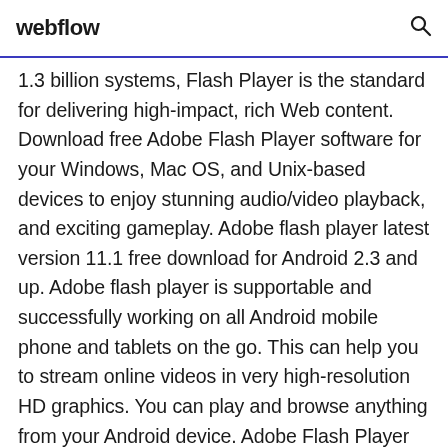webflow
1.3 billion systems, Flash Player is the standard for delivering high-impact, rich Web content. Download free Adobe Flash Player software for your Windows, Mac OS, and Unix-based devices to enjoy stunning audio/video playback, and exciting gameplay. Adobe flash player latest version 11.1 free download for Android 2.3 and up. Adobe flash player is supportable and successfully working on all Android mobile phone and tablets on the go. This can help you to stream online videos in very high-resolution HD graphics. You can play and browse anything from your Android device. Adobe Flash Player 11 APK Download. 2 years ago. Adobe Flash